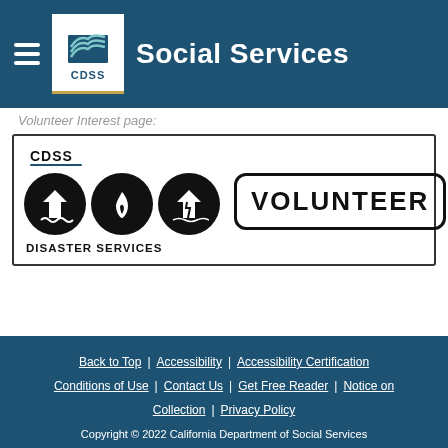Social Services
Volunteer Interest page:
[Figure (logo): CDSS Disaster Services Volunteer logo with three black circles showing flood, fire, and earthquake icons, and a rectangular VOLUNTEER badge]
Back to Top | Accessibility | Accessibility Certification | Conditions of Use | Contact Us | Get Free Reader | Notice on Collection | Privacy Policy | Copyright © 2022 California Department of Social Services